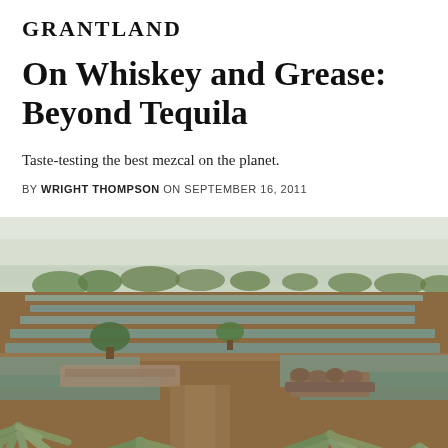GRANTLAND
On Whiskey and Grease: Beyond Tequila
Taste-testing the best mezcal on the planet.
BY WRIGHT THOMPSON ON SEPTEMBER 16, 2011
[Figure (photo): Wide landscape photograph of rows of blue agave plants growing in a field in Mexico, with dirt paths, stacked logs, green trees, and a hazy sky in the background.]